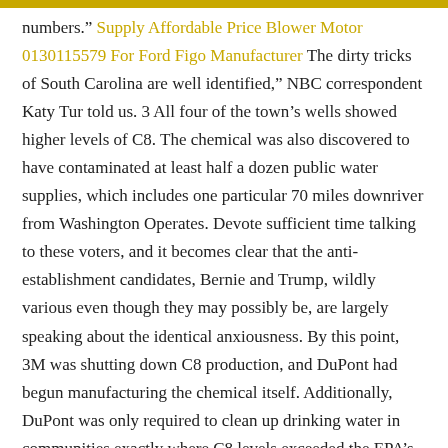numbers." Supply Affordable Price Blower Motor 0130115579 For Ford Figo Manufacturer The dirty tricks of South Carolina are well identified," NBC correspondent Katy Tur told us. 3 All four of the town's wells showed higher levels of C8. The chemical was also discovered to have contaminated at least half a dozen public water supplies, which includes one particular 70 miles downriver from Washington Operates. Devote sufficient time talking to these voters, and it becomes clear that the anti-establishment candidates, Bernie and Trump, wildly various even though they may possibly be, are largely speaking about the identical anxiousness. By this point, 3M was shutting down C8 production, and DuPont had begun manufacturing the chemical itself. Additionally, DuPont was only required to clean up drinking water in communities exactly where C8 levels exceeded the EPA's safety limit of .four components per billion. At the identical time, Americans began to flock to the water considering that 1970, our coastal populations have elevated by 40 percent. South Carolina would have to be the place to blur the Straight Talk Express. The company promised to set up filtration